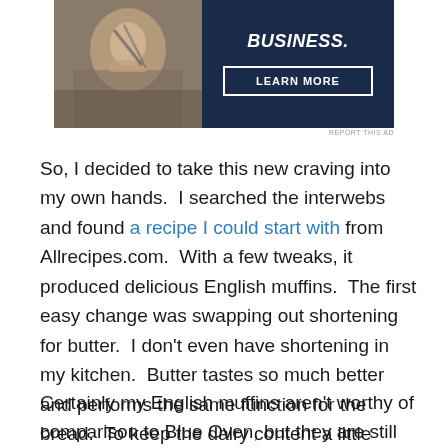[Figure (other): Advertisement banner with dark navy background showing a person's hands and text 'BUSINESS.' with a 'LEARN MORE' button]
REPORT THIS AD
So, I decided to take this new craving into my own hands.  I searched the interwebs and found a recipe I could start with from Allrecipes.com.  With a few tweaks, it produced delicious English muffins.  The first easy change was swapping out shortening for butter.  I don't even have shortening in my kitchen.  Butter tastes so much better and performs the same function for the bread.  To keep the dairy content a little lower though, I use non-dairy milk instead of cow's milk.
Certainly my English muffins aren't worthy of comparison to Blue Oven, but they are still leagues ahead of the